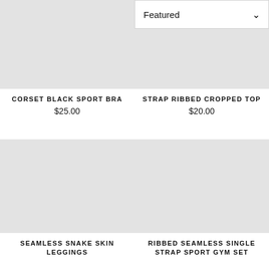[Figure (photo): Product image placeholder for Corset Black Sport Bra (light grey rectangle, top-left)]
[Figure (screenshot): Featured dropdown sort selector and product image placeholder for Strap Ribbed Cropped Top (top-right column)]
CORSET BLACK SPORT BRA
$25.00
STRAP RIBBED CROPPED TOP
$20.00
[Figure (photo): Product image placeholder for Seamless Snake Skin Leggings (light grey rectangle, bottom-left)]
[Figure (photo): Product image placeholder for Ribbed Seamless Single Strap Sport Gym Set (light grey rectangle, bottom-right)]
SEAMLESS SNAKE SKIN LEGGINGS
RIBBED SEAMLESS SINGLE STRAP SPORT GYM SET